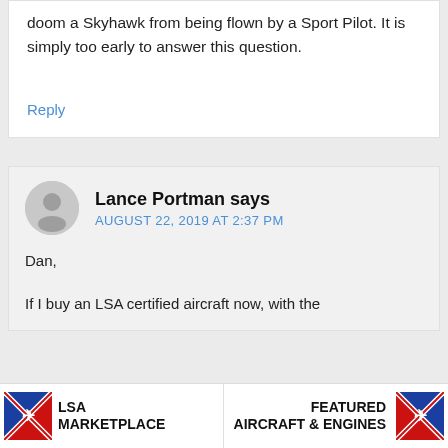doom a Skyhawk from being flown by a Sport Pilot. It is simply too early to answer this question.
Reply
Lance Portman says
AUGUST 22, 2019 AT 2:37 PM
Dan,
If I buy an LSA certified aircraft now, with the
[Figure (logo): LSA Marketplace logo with red and blue flag icon on left]
[Figure (logo): Featured Aircraft & Engines logo with red and blue flag icon on right]